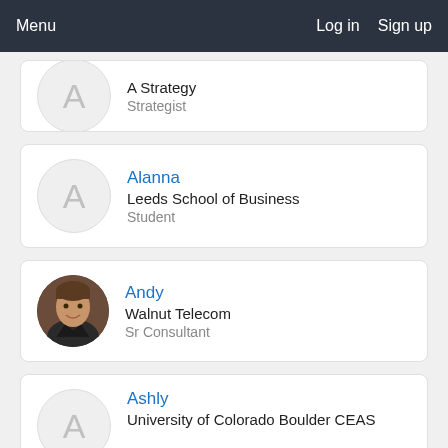Menu    Log in  Sign up
A Strategy — Strategist
Alanna — Leeds School of Business — Student
Andy — Walnut Telecom — Sr Consultant
Ashly — University of Colorado Boulder CEAS